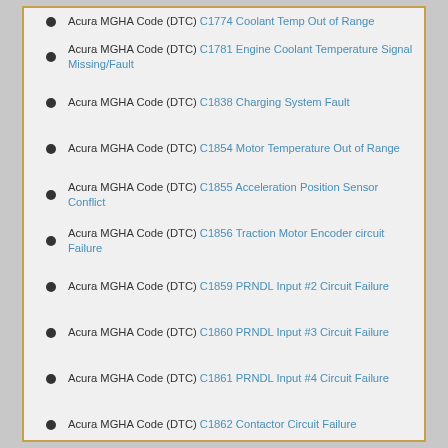Acura MGHA Code (DTC) C1774 Coolant Temp Out of Range
Acura MGHA Code (DTC) C1781 Engine Coolant Temperature Signal Missing/Fault
Acura MGHA Code (DTC) C1838 Charging System Fault
Acura MGHA Code (DTC) C1854 Motor Temperature Out of Range
Acura MGHA Code (DTC) C1855 Acceleration Position Sensor Conflict
Acura MGHA Code (DTC) C1856 Traction Motor Encoder circuit Failure
Acura MGHA Code (DTC) C1859 PRNDL Input #2 Circuit Failure
Acura MGHA Code (DTC) C1860 PRNDL Input #3 Circuit Failure
Acura MGHA Code (DTC) C1861 PRNDL Input #4 Circuit Failure
Acura MGHA Code (DTC) C1862 Contactor Circuit Failure
Acura MGHA Code (DTC) C1863 External Charging Fault
Acura MGHA Code (DTC) C1864 Battery Module Fault